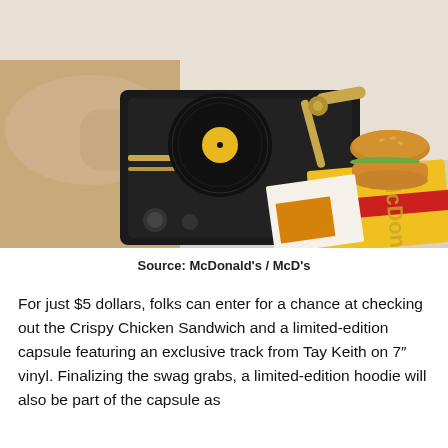[Figure (photo): A person wearing a beige/cream hoodie placing a black vinyl record (with yellow label) onto a portable black turntable. To the right is a McDonald's Crispy Chicken Sandwich on a bun, sitting on top of McDonald's branded yellow/red packaging materials on a light surface.]
Source: McDonald's / McD's
For just $5 dollars, folks can enter for a chance at checking out the Crispy Chicken Sandwich and a limited-edition capsule featuring an exclusive track from Tay Keith on 7″ vinyl. Finalizing the swag grabs, a limited-edition hoodie will also be part of the capsule as